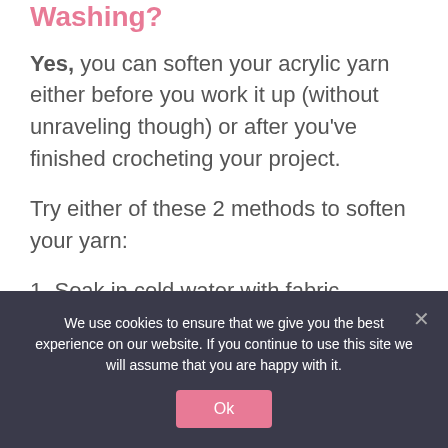Washing?
Yes, you can soften your acrylic yarn either before you work it up (without unraveling though) or after you've finished crocheting your project.
Try either of these 2 methods to soften your yarn:
1. Soak in cold water with fabric softener or conditioner; or
We use cookies to ensure that we give you the best experience on our website. If you continue to use this site we will assume that you are happy with it.